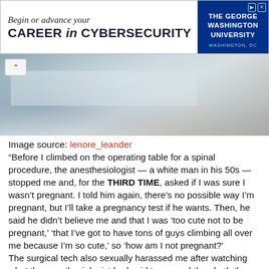[Figure (other): Advertisement banner for The George Washington University: 'Begin or advance your CAREER in CYBERSECURITY', Washington, DC]
[Figure (photo): Blurred/blurry image of what appears to be medical or pharmacy supplies in a tray, with blue items visible on the left side]
Image source: lenore_leander
“Before I climbed on the operating table for a spinal procedure, the anesthesiologist — a white man in his 50s — stopped me and, for the THIRD TIME, asked if I was sure I wasn’t pregnant. I told him again, there’s no possible way I’m pregnant, but I’ll take a pregnancy test if he wants. Then, he said he didn’t believe me and that I was ‘too cute not to be pregnant,’ ‘that I’ve got to have tons of guys climbing all over me because I’m so cute,’ so ‘how am I not pregnant?’
The surgical tech also sexually harassed me after watching what the anesthesiologist had said to me and then both the